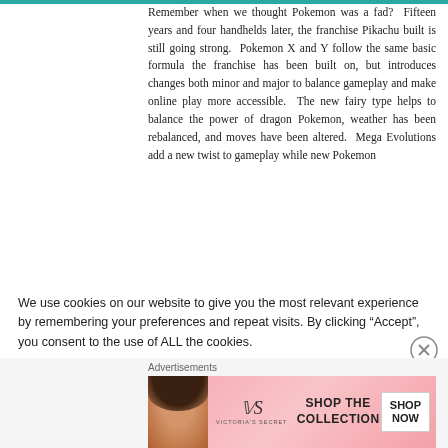Remember when we thought Pokemon was a fad?  Fifteen years and four handhelds later, the franchise Pikachu built is still going strong.  Pokemon X and Y follow the same basic formula the franchise has been built on, but introduces changes both minor and major to balance gameplay and make online play more accessible.  The new fairy type helps to balance the power of dragon Pokemon, weather has been rebalanced, and moves have been altered.  Mega Evolutions add a new twist to gameplay while new Pokemon
We use cookies on our website to give you the most relevant experience by remembering your preferences and repeat visits. By clicking “Accept”, you consent to the use of ALL the cookies.
Do not sell my personal information. (GotGame never sells personal info regardless of this CCPA mandated option)
Advertisements
[Figure (photo): Victoria's Secret advertisement banner showing a woman with curly hair, VS logo, 'SHOP THE COLLECTION' text, and a 'SHOP NOW' button]